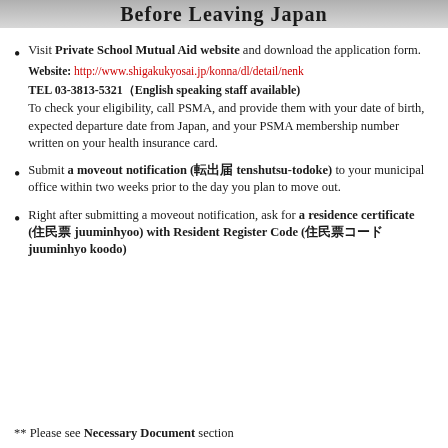Before Leaving Japan
Visit Private School Mutual Aid website and download the application form.
Website: http://www.shigakukyosai.jp/konna/dl/detail/nenk...
TEL 03-3813-5321（English speaking staff available)
To check your eligibility, call PSMA, and provide them with your date of birth, expected departure date from Japan, and your PSMA membership number written on your health insurance card.
Submit a moveout notification (転出届 tenshutsu-todoke) to your municipal office within two weeks prior to the day you plan to move out.
Right after submitting a moveout notification, ask for a residence certificate (住民票 juuminhyoo) with Resident Register Code (住民票コード juuminhyo koodo)
** Please see Necessary Document section